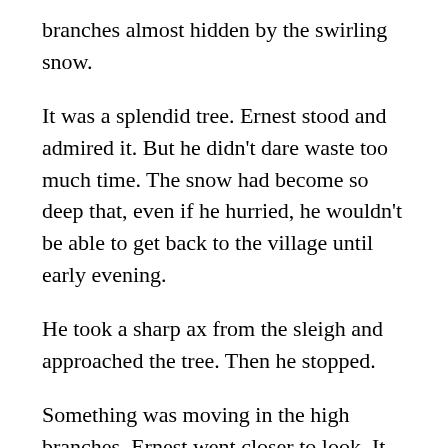branches almost hidden by the swirling snow.
It was a splendid tree.  Ernest stood and admired it.  But he didn't dare waste too much time.  The snow had become so deep that, even if he hurried, he wouldn't be able to get back to the village until early evening.
He took a sharp ax from the sleigh and approached the tree.  Then he stopped.
Something was moving in the high branches.  Ernest went closer to look.  It was a nest.  A nest full of baby robins.
Ernest knew about robins.  They flew far north